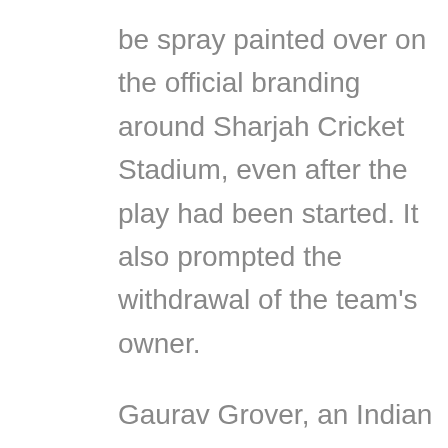be spray painted over on the official branding around Sharjah Cricket Stadium, even after the play had been started. It also prompted the withdrawal of the team's owner.
Gaurav Grover, an Indian IT businessman, took over the running of the franchise midway through the competition.